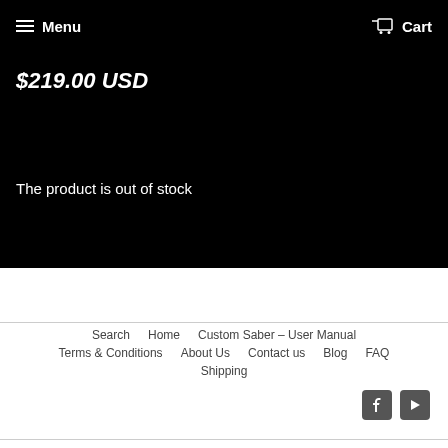Menu   Cart
$219.00 USD
The product is out of stock
Search   Home   Custom Saber – User Manual   Terms & Conditions   About Us   Contact us   Blog   FAQ   Shipping